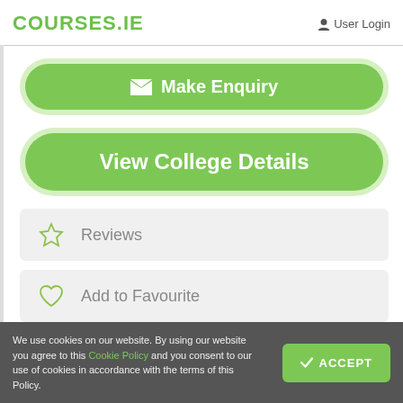COURSES.IE   User Login
[Figure (screenshot): Green 'Make Enquiry' button with envelope icon]
[Figure (screenshot): Green 'View College Details' button]
Reviews
Add to Favourite
We use cookies on our website. By using our website you agree to this Cookie Policy and you consent to our use of cookies in accordance with the terms of this Policy.